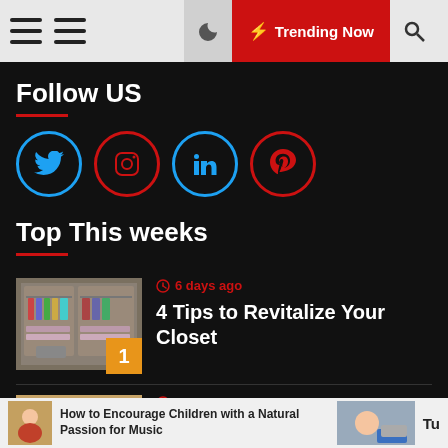Trending Now
Follow US
[Figure (infographic): Social media icons: Twitter, Instagram, LinkedIn, Pinterest in circular borders]
Top This weeks
[Figure (photo): Organized closet with clothing racks and shelving unit]
6 days ago
4 Tips to Revitalize Your Closet
[Figure (photo): Child holding a VR headset above their head]
6 days ago
How to Encourage Children with a Natural Passion for Music
How to Encourage Children with a Natural Passion for Music